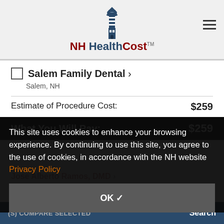[Figure (logo): NH HealthCost logo with lighthouse graphic]
Salem Family Dental > Salem, NH
Estimate of Procedure Cost: $259
What You Will Pay: $259
This site uses cookies to enhance your browsing experience. By continuing to use this site, you agree to the use of cookies, in accordance with the NH website Privacy Policy
OK ✓
Jose Alberto Ramos, DMD > Greenland, NH
COMPARE SELECTED
Search